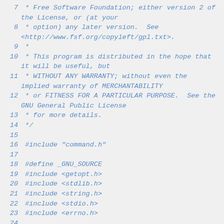Source code listing lines 7-26 with GPL license header and C include directives
7   * Free Software Foundation; either version 2 of the License, or (at your
8   * option) any later version.  See <http://www.fsf.org/copyleft/gpl.txt>.
9   *
10  * This program is distributed in the hope that it will be useful, but
11  * WITHOUT ANY WARRANTY; without even the implied warranty of MERCHANTABILITY
12  * or FITNESS FOR A PARTICULAR PURPOSE.  See the GNU General Public License
13  * for more details.
14  */
15
16  #include "command.h"
17
18  #define _GNU_SOURCE
19  #include <getopt.h>
20  #include <stdlib.h>
21  #include <string.h>
22  #include <stdio.h>
23  #include <errno.h>
24
25  #include <library.h>
26  #include <utils/debug.h>